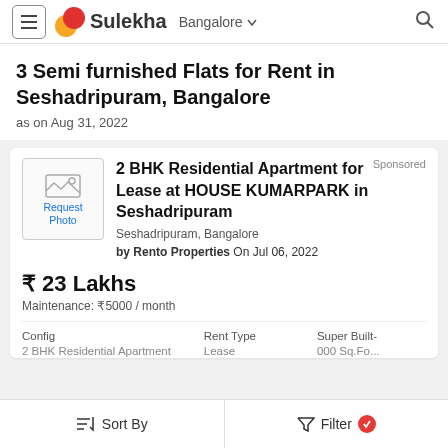Sulekha Bangalore
3 Semi furnished Flats for Rent in Seshadripuram, Bangalore
as on Aug 31, 2022
Sponsored
2 BHK Residential Apartment for Lease at HOUSE KUMARPARK in Seshadripuram
Seshadripuram, Bangalore
by Rento Properties On Jul 06, 2022
₹ 23 Lakhs
Maintenance: ₹5000 / month
| Config | Rent Type | Super Built- |
| --- | --- | --- |
| 2 BHK Residential Apartment | Lease | 000 Sq.Fo... |
Sort By   Filter